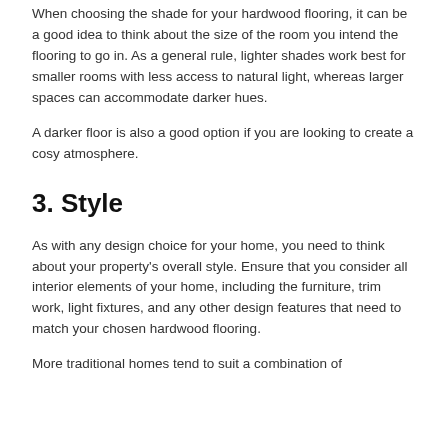When choosing the shade for your hardwood flooring, it can be a good idea to think about the size of the room you intend the flooring to go in. As a general rule, lighter shades work best for smaller rooms with less access to natural light, whereas larger spaces can accommodate darker hues.
A darker floor is also a good option if you are looking to create a cosy atmosphere.
3. Style
As with any design choice for your home, you need to think about your property's overall style. Ensure that you consider all interior elements of your home, including the furniture, trim work, light fixtures, and any other design features that need to match your chosen hardwood flooring.
More traditional homes tend to suit a combination of